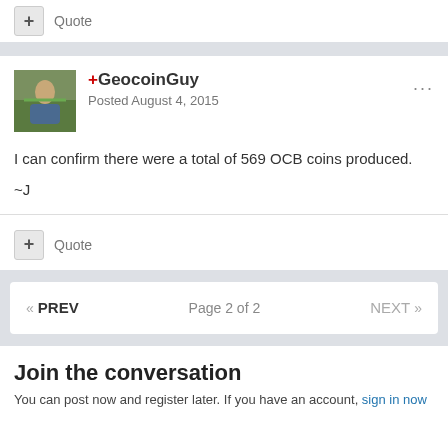+ Quote
+GeocoinGuy
Posted August 4, 2015
I can confirm there were a total of 569 OCB coins produced.
~J
+ Quote
«  PREV    Page 2 of 2    NEXT  »
Join the conversation
You can post now and register later. If you have an account, sign in now